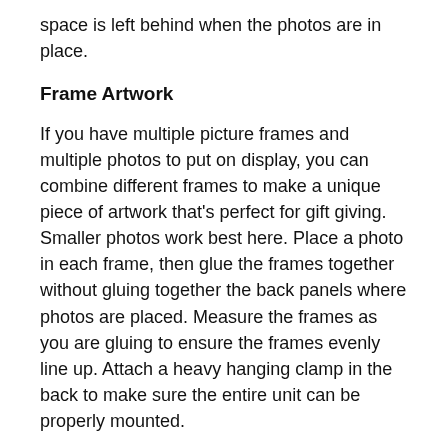space is left behind when the photos are in place.
Frame Artwork
If you have multiple picture frames and multiple photos to put on display, you can combine different frames to make a unique piece of artwork that's perfect for gift giving. Smaller photos work best here. Place a photo in each frame, then glue the frames together without gluing together the back panels where photos are placed. Measure the frames as you are gluing to ensure the frames evenly line up. Attach a heavy hanging clamp in the back to make sure the entire unit can be properly mounted.
Personalized Frame and Photo